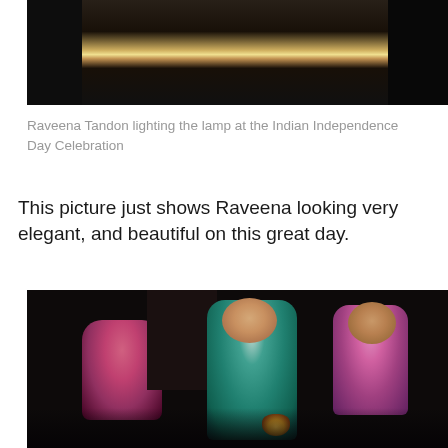[Figure (photo): Dark photo of people at an event, with a bright flame/lamp visible in the center of the image, figures in dark clothing visible on the left and right]
Raveena Tandon lighting the lamp at the Indian Independence Day Celebration
This picture just shows Raveena looking very elegant, and beautiful on this great day.
[Figure (photo): Photo of women at an Indian event; center figure in teal/green salwar kameez (Raveena Tandon) holding a lamp, woman in pink on the left, woman with bright pink/red hair on the right, dark background with stage lighting]